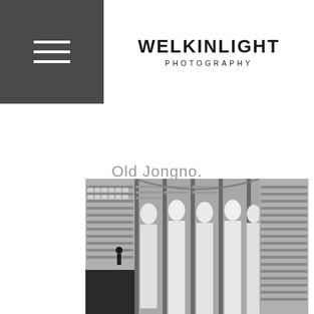WELKINLIGHT PHOTOGRAPHY
Old Jongno.
[Figure (photo): Black and white photograph of a Buddhist temple interior showing a row of large white stone Buddha statues standing in front of shelves filled with smaller Buddha figures. A single person is visible in the lower left near some steps. The image is panoramic and cropped at the bottom of the page.]